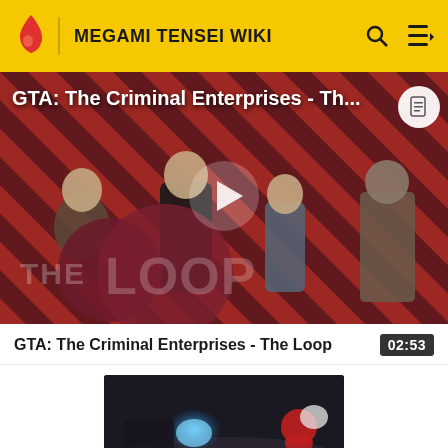MEGAMI TENSEI WIKI
[Figure (screenshot): Video thumbnail for GTA: The Criminal Enterprises - The Loop, showing characters on a red diagonal striped background with The Loop logo overlay and a play button in the center. Title text overlay reads 'GTA: The Criminal Enterprises - Th...']
GTA: The Criminal Enterprises - The Loop
02:53
[Figure (screenshot): Thumbnail image showing Mitsuru missing with Marin Karin, dark scene with blue glowing light]
Mitsuru missing with Marin Karin.